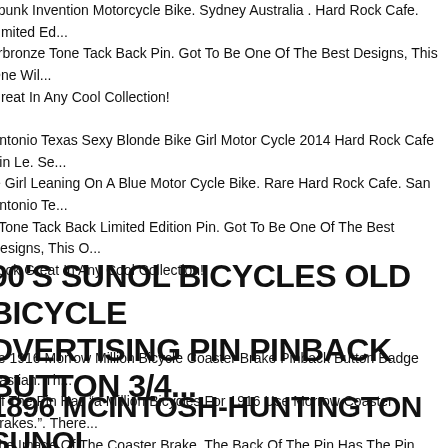npunk Invention Motorcycle Bike. Sydney Australia . Hard Rock Cafe. Limited Edition Copperbronze Tone Tack Back Pin. Got To Be One Of The Best Designs, This One Will Look Great In Any Cool Collection!
Antonio Texas Sexy Blonde Bike Girl Motor Cycle 2014 Hard Rock Cafe Pin Le. Sexy Blonde Girl Leaning On A Blue Motor Cycle Bike. Rare Hard Rock Cafe. San Antonio Texas Silver Tone Tack Back Limited Edition Pin. Got To Be One Of The Best Designs, This One Will Look Great In Any Cool Collection!
90'S SUNOL BICYCLES OLD BICYCLE ADVERTISING PIN PINBACK BUTTON 3/4...
ue 1916 Morrow Million Bicycle Coaster Brake Pinback Button Badge Bastian. The Front Of The Pin Has "a Million Bicycles For 1916 Use Morrow Coaster Brakes.". There Is Also The Image Of The Coaster Brake. The Back Of The Pin Has The Pin Manufacturer Information "bastian Bros.
1896 MCINTOSH-HUNTINGTON SUNOL BICYCLES CELLULOID PINBACK BUTTO...